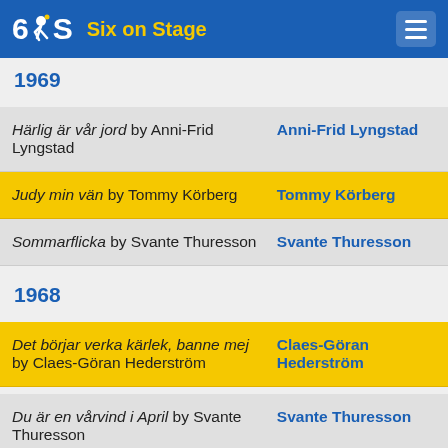Six on Stage
1969
Härlig är vår jord by Anni-Frid Lyngstad — Anni-Frid Lyngstad
Judy min vän by Tommy Körberg — Tommy Körberg
Sommarflicka by Svante Thuresson — Svante Thuresson
1968
Det börjar verka kärlek, banne mej by Claes-Göran Hederström — Claes-Göran Hederström
Du är en vårvind i April by Svante Thuresson — Svante Thuresson